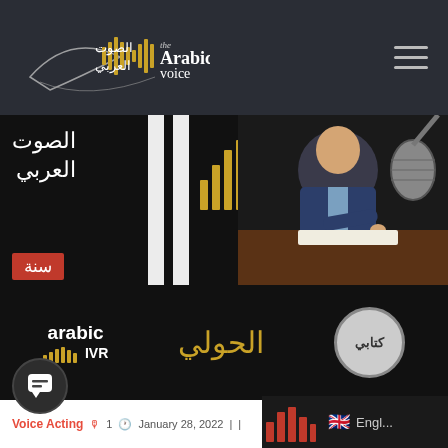The Arabic Voice — Navigation bar with logo and hamburger menu
[Figure (screenshot): Screenshot of The Arabic Voice website. Top navigation bar with dark background showing 'The Arabic Voice' logo with Arabic text and sound wave graphic, and hamburger menu icon on right. Below is a banner image showing a man in a suit at a desk with a microphone, with Arabic logo overlay, golden sound bars, vertical white stripes, and Arabic/red text overlay reading 'سنة'. Below that is a row of logos: 'arabic IVR' with sound bar icon, Arabic calligraphy in gold, and a circular logo. Bottom-left has a chat bubble icon; bottom-right has a sound bars icon and English language flag button.]
Voice Acting
1
January 28, 2022
Engl...